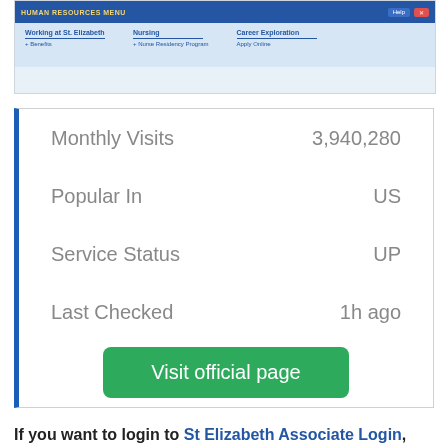[Figure (screenshot): Screenshot of the St Elizabeth Human Resources website header, showing blue navigation bar with 'HUMAN RESOURCES MENU' and navigation links for 'Working at St. Elizabeth', 'Nursing', 'Career Exploration', with sub-links including 'Benefits', 'Nurse Residency Program', 'Apply Online'.]
|  |  |
| --- | --- |
| Monthly Visits | 3,940,280 |
| Popular In | US |
| Service Status | UP |
| Last Checked | 1h ago |
Visit official page
If you want to login to St Elizabeth Associate Login, then there is a very easy way to do it.
A lot of websites will offer you convoluted ways about doing it. However, there is a much